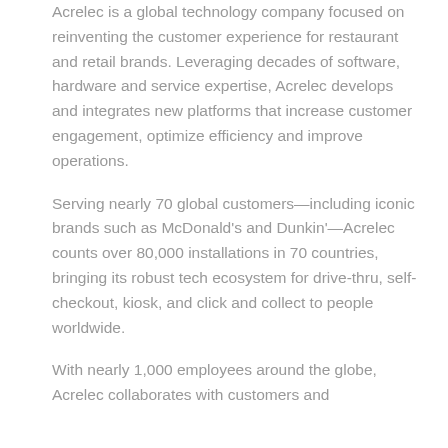Acrelec is a global technology company focused on reinventing the customer experience for restaurant and retail brands. Leveraging decades of software, hardware and service expertise, Acrelec develops and integrates new platforms that increase customer engagement, optimize efficiency and improve operations.
Serving nearly 70 global customers—including iconic brands such as McDonald's and Dunkin'—Acrelec counts over 80,000 installations in 70 countries, bringing its robust tech ecosystem for drive-thru, self-checkout, kiosk, and click and collect to people worldwide.
With nearly 1,000 employees around the globe, Acrelec collaborates with customers and